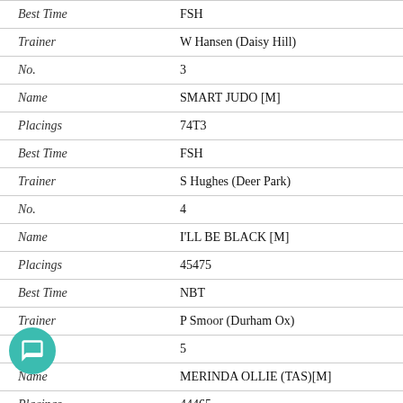| Best Time | FSH |
| Trainer | W Hansen (Daisy Hill) |
| No. | 3 |
| Name | SMART JUDO [M] |
| Placings | 74T3 |
| Best Time | FSH |
| Trainer | S Hughes (Deer Park) |
| No. | 4 |
| Name | I'LL BE BLACK [M] |
| Placings | 45475 |
| Best Time | NBT |
| Trainer | P Smoor (Durham Ox) |
| No. | 5 |
| Name | MERINDA OLLIE (TAS)[M] |
| Placings | 44465 |
| Best Time | FSH |
| Trainer | R Fisher (Lara) |